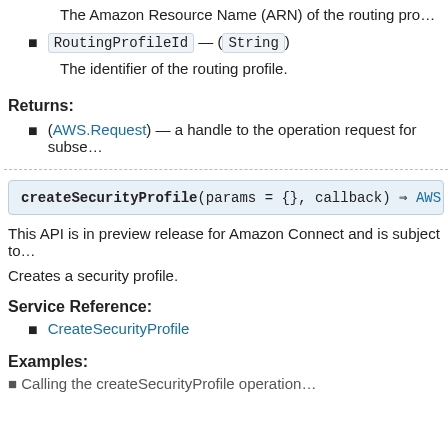The Amazon Resource Name (ARN) of the routing profile.
RoutingProfileId — (String)
The identifier of the routing profile.
Returns:
(AWS.Request) — a handle to the operation request for subsequent event callback registration.
createSecurityProfile(params = {}, callback) ⇒ AWS.Request
This API is in preview release for Amazon Connect and is subject to change.
Creates a security profile.
Service Reference:
CreateSecurityProfile
Examples:
• Calling the createSecurityProfile operation